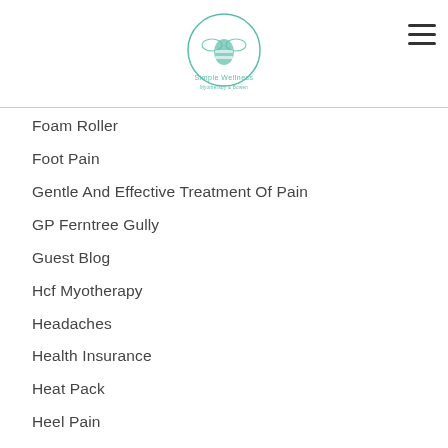Simple Wellness
Foam Roller
Foot Pain
Gentle And Effective Treatment Of Pain
GP Ferntree Gully
Guest Blog
Hcf Myotherapy
Headaches
Health Insurance
Heat Pack
Heel Pain
Herniated Disc
Hicaps
HICAPS Remedial Massage
Hip Pain
Holiday Opening Hours
Holistic Treatment
Hydrotherapy